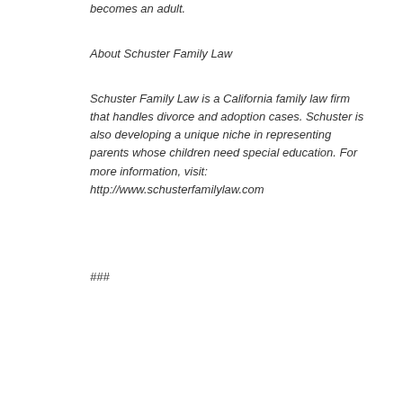becomes an adult.
About Schuster Family Law
Schuster Family Law is a California family law firm that handles divorce and adoption cases. Schuster is also developing a unique niche in representing parents whose children need special education. For more information, visit: http://www.schusterfamilylaw.com
###